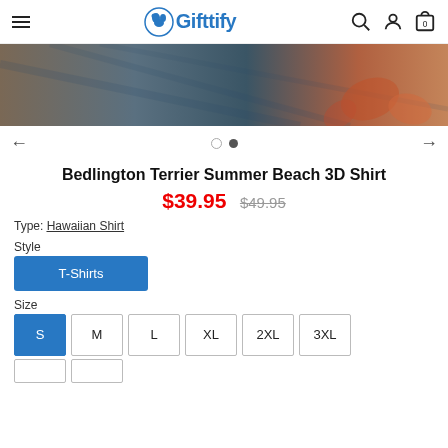Gifttify — navigation header with hamburger menu, logo, search, account, and cart icons
[Figure (photo): Product image showing jeans fabric and autumn leaves — partial view cropped at top]
← (left arrow)  ○ ● (carousel dots)  → (right arrow)
Bedlington Terrier Summer Beach 3D Shirt
$39.95  $49.95
Type: Hawaiian Shirt
Style
T-Shirts
Size
S  M  L  XL  2XL  3XL